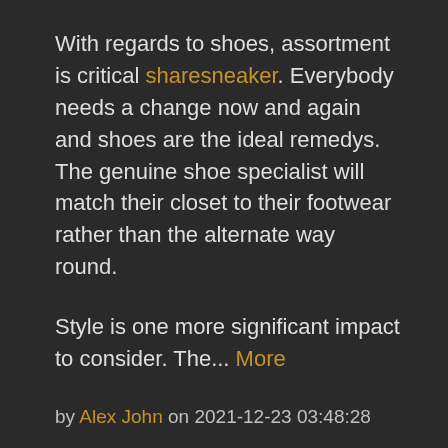With regards to shoes, assortment is critical sharesneaker. Everybody needs a change now and again and shoes are the ideal remedys. The genuine shoe specialist will match their closet to their footwear rather than the alternate way round.
Style is one more significant impact to consider. The... More
by Alex John on 2021-12-23 03:48:28